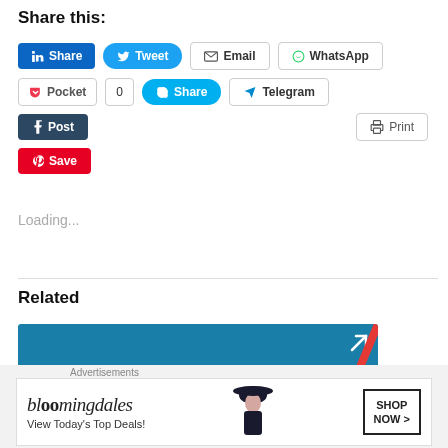Share this:
[Figure (screenshot): Social share buttons: LinkedIn Share, Tweet, Email, WhatsApp, Pocket (0), Skype Share, Telegram, Tumblr Post, Print, Pinterest Save]
Loading...
Related
[Figure (screenshot): Related article thumbnail with teal/blue background showing partial text 'ctory' and 'et started']
[Figure (screenshot): Advertisement banner: Bloomingdales - View Today's Top Deals! SHOP NOW >]